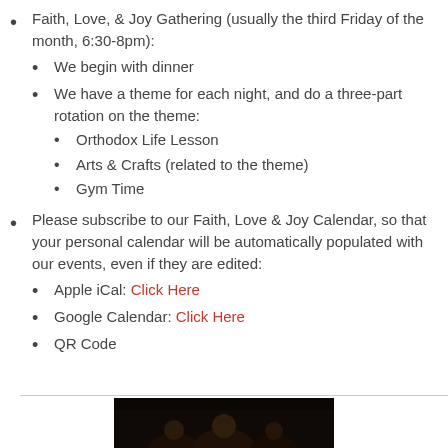Faith, Love, & Joy Gathering (usually the third Friday of the month, 6:30-8pm):
We begin with dinner
We have a theme for each night, and do a three-part rotation on the theme:
Orthodox Life Lesson
Arts & Crafts (related to the theme)
Gym Time
Please subscribe to our Faith, Love & Joy Calendar, so that your personal calendar will be automatically populated with our events, even if they are edited:
Apple iCal: Click Here
Google Calendar: Click Here
QR Code
[Figure (photo): Dark photo strip showing silhouettes of people at the bottom of the page]